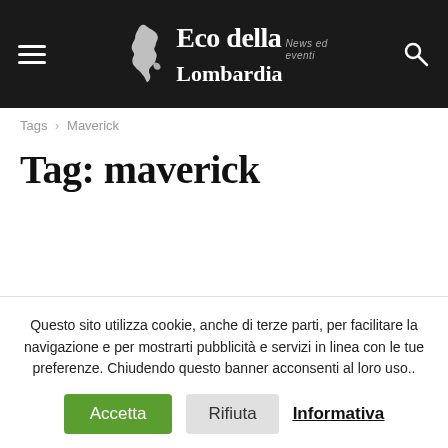Eco della Lombardia — News ed eventi
Tags › Maverick
Tag: maverick
Questo sito utilizza cookie, anche di terze parti, per facilitare la navigazione e per mostrarti pubblicità e servizi in linea con le tue preferenze. Chiudendo questo banner acconsenti al loro uso.. Accetta Rifiuta Informativa